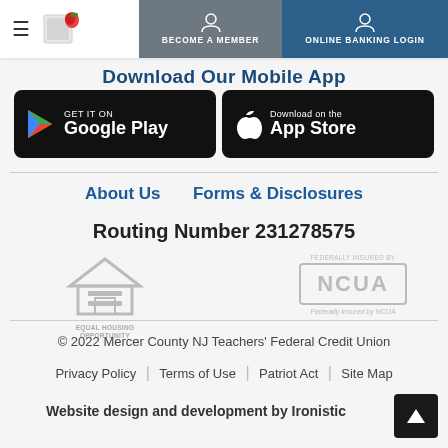BECOME A MEMBER | ONLINE BANKING LOGIN
Download Our Mobile App
[Figure (screenshot): Google Play store download button — black rounded rectangle with Play Store triangle logo and text 'GET IT ON Google Play']
[Figure (screenshot): Apple App Store download button — black rounded rectangle with Apple logo and text 'Download on the App Store']
About Us   Forms & Disclosures
Routing Number 231278575
[Figure (logo): Equal Housing Opportunity logo — grey house outline with equals sign, text 'EQUAL HOUSING OPPORTUNITY' below]
[Figure (logo): NCUA logo — grey rectangle border with bold NCUA text, subtitle 'Federally Insured by NCUA']
© 2022 Mercer County NJ Teachers' Federal Credit Union
Privacy Policy | Terms of Use | Patriot Act | Site Map
Website design and development by Ironistic